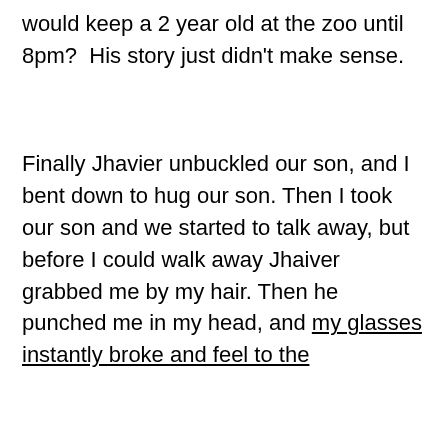would keep a 2 year old at the zoo until 8pm?  His story just didn't make sense.
Finally Jhavier unbuckled our son, and I bent down to hug our son. Then I took our son and we started to talk away, but before I could walk away Jhaiver grabbed me by my hair. Then he punched me in my head, and my glasses instantly broke and feel to the
Hello Royalty Use Code: Journee to save 10% Free Shipping $75 US & Canada Only! Thank you for ...
Advertisements
[Figure (illustration): Day One journaling app advertisement with light blue background, app icon illustrations (notebook, person, clipboard), and text 'The only journaling app you'll ever need.']